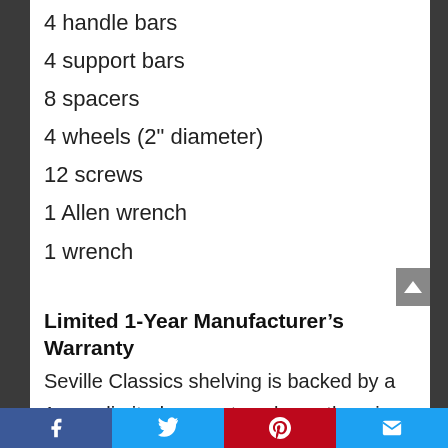4 handle bars
4 support bars
8 spacers
4 wheels (2″ diameter)
12 screws
1 Allen wrench
1 wrench
Limited 1-Year Manufacturer's Warranty
Seville Classics shelving is backed by a 1-year limited warranty unless otherwise specified. The warranty protects against original defects in material or workmanship under normal home or office use for the duration of the warranty period.